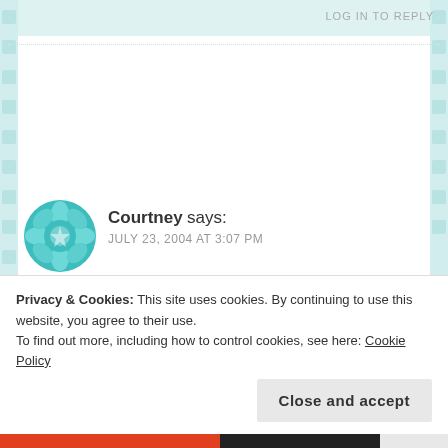LOG IN TO REPLY
[Figure (illustration): Teal geometric flower/mandala avatar icon for user Courtney]
Courtney says:
JULY 23, 2004 AT 3:07 PM
👍 0 👎 0 ℹ Rate This
I'm secure enough to hear this.
Privacy & Cookies: This site uses cookies. By continuing to use this website, you agree to their use.
To find out more, including how to control cookies, see here: Cookie Policy
Close and accept